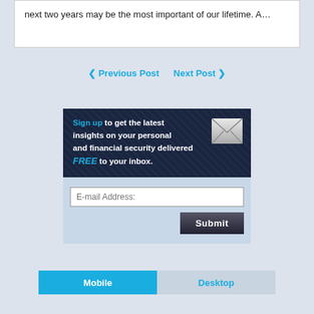next two years may be the most important of our lifetime. A…
❮ Previous Post   Next Post ❯
[Figure (infographic): Sign up banner with envelope icon and email signup form. Dark navy background with text: 'Sign up to get the latest insights on your personal and financial security delivered FREE to your inbox.' Below is a light blue form area with an E-mail Address input field and a Submit button.]
Mobile   Desktop